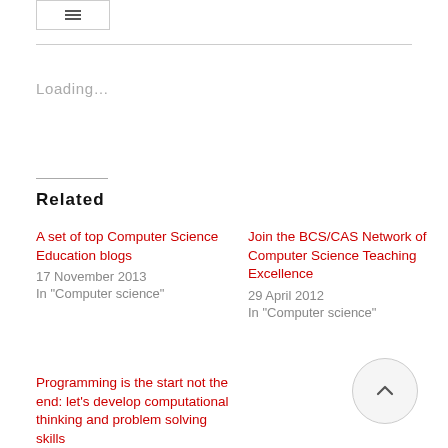[Figure (other): Small button with an icon at top left]
Loading...
Related
A set of top Computer Science Education blogs
17 November 2013
In "Computer science"
Join the BCS/CAS Network of Computer Science Teaching Excellence
29 April 2012
In "Computer science"
Programming is the start not the end: let's develop computational thinking and problem solving skills